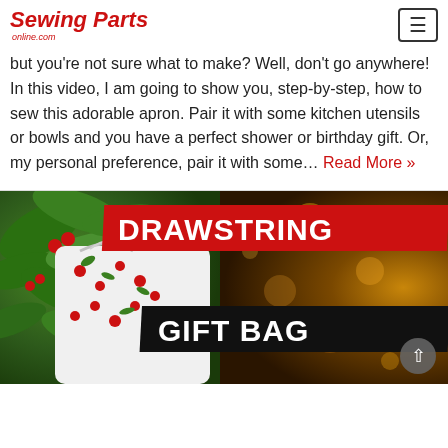Sewing Parts online.com
but you're not sure what to make? Well, don't go anywhere! In this video, I am going to show you, step-by-step, how to sew this adorable apron. Pair it with some kitchen utensils or bowls and you have a perfect shower or birthday gift. Or, my personal preference, pair it with some… Read More »
[Figure (photo): A drawstring gift bag made from white fabric with red and green Christmas print, surrounded by green holly leaves and red berries, with bokeh Christmas lights in the background. Banner text reads 'DRAWSTRING GIFT BAG'.]